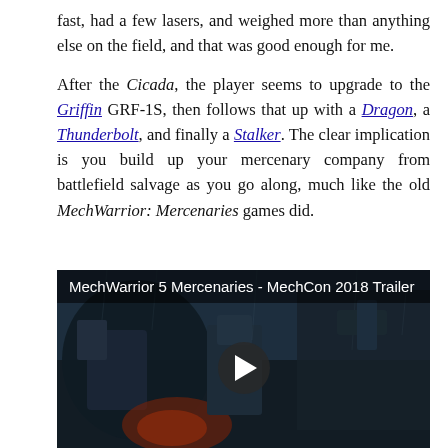fast, had a few lasers, and weighed more than anything else on the field, and that was good enough for me.

After the Cicada, the player seems to upgrade to the Griffin GRF-1S, then follows that up with a Dragon, a Thunderbolt, and finally a Stalker. The clear implication is you build up your mercenary company from battlefield salvage as you go along, much like the old MechWarrior: Mercenaries games did.
[Figure (screenshot): Video thumbnail for MechWarrior 5 Mercenaries - MechCon 2018 Trailer, showing a mech in a dark rainy battlefield scene with a play button overlay.]